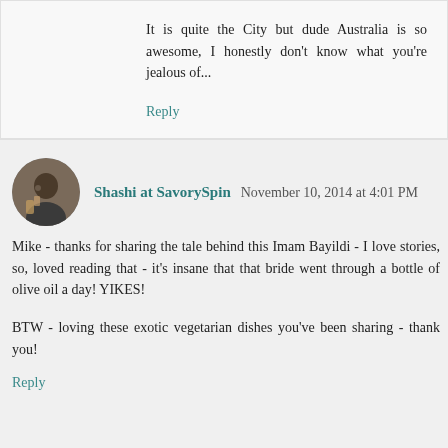It is quite the City but dude Australia is so awesome, I honestly don't know what you're jealous of...
Reply
Shashi at SavorySpin November 10, 2014 at 4:01 PM
Mike - thanks for sharing the tale behind this Imam Bayildi - I love stories, so, loved reading that - it's insane that that bride went through a bottle of olive oil a day! YIKES!
BTW - loving these exotic vegetarian dishes you've been sharing - thank you!
Reply